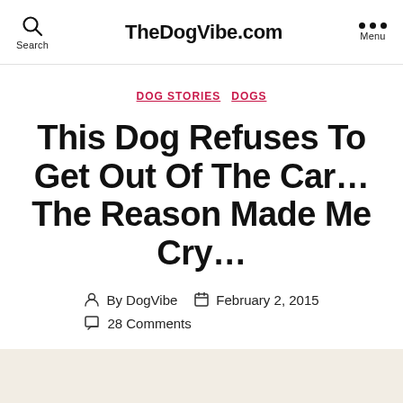TheDogVibe.com
DOG STORIES  DOGS
This Dog Refuses To Get Out Of The Car… The Reason Made Me Cry…
By DogVibe  February 2, 2015  28 Comments